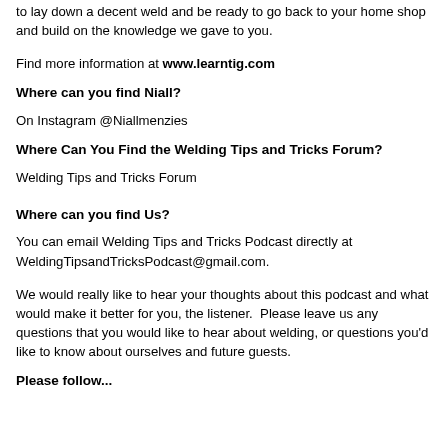to lay down a decent weld and be ready to go back to your home shop and build on the knowledge we gave to you.
Find more information at www.learntig.com
Where can you find Niall?
On Instagram @Niallmenzies
Where Can You Find the Welding Tips and Tricks Forum?
Welding Tips and Tricks Forum
Where can you find Us?
You can email Welding Tips and Tricks Podcast directly at WeldingTipsandTricksPodcast@gmail.com.
We would really like to hear your thoughts about this podcast and what would make it better for you, the listener.  Please leave us any questions that you would like to hear about welding, or questions you'd like to know about ourselves and future guests.
Please follow...